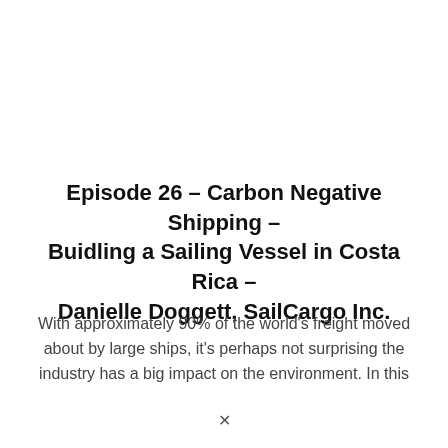Episode 26 – Carbon Negative Shipping – Buidling a Sailing Vessel in Costa Rica – Danielle Doggett, SailCargo Inc.
With approximately 90% of the world's freight moved about by large ships, it's perhaps not surprising the industry has a big impact on the environment. In this